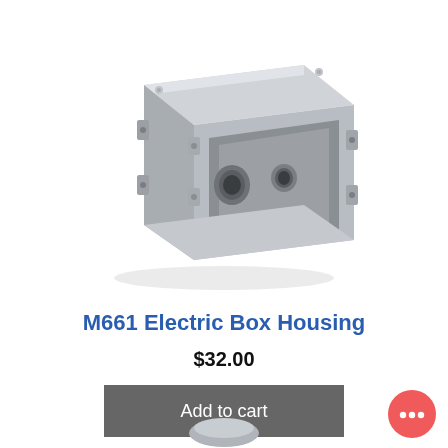[Figure (photo): Gray metal electrical box housing (M661) shown in 3D perspective view, open front face visible with circular knockout holes, mounting tabs on sides, and a removable lid on top.]
M661 Electric Box Housing
$32.00
Add to cart
[Figure (other): Red circular chat/support bubble icon with three dots in lower right corner of page.]
[Figure (photo): Partial view of another product item visible at the bottom of the page.]